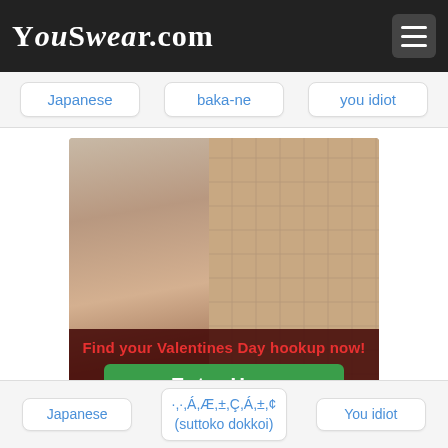YouSwear.com
Japanese
baka-ne
you idiot
[Figure (photo): Advertisement banner for Ashley Madison showing a young woman in a kitchen setting, with overlay text 'Find your Valentines Day hookup now!' and a green 'Enter Here' button]
Ashley Madison - Secret Affairs
Japanese
·,·,Á,Æ,±,Ç,Á,±,¢ (suttoko dokkoi)
You idiot